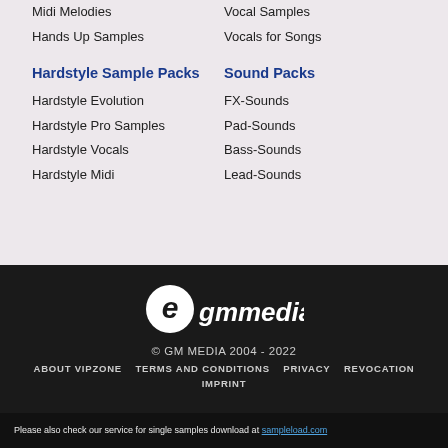Midi Melodies
Hands Up Samples
Vocal Samples
Vocals for Songs
Hardstyle Sample Packs
Sound Packs
Hardstyle Evolution
FX-Sounds
Hardstyle Pro Samples
Pad-Sounds
Hardstyle Vocals
Bass-Sounds
Hardstyle Midi
Lead-Sounds
[Figure (logo): egmmedia logo — stylized letter e followed by 'gmmedia' in white italic bold text on dark background]
© GM MEDIA 2004 - 2022
ABOUT VIPZONE   TERMS AND CONDITIONS   PRIVACY   REVOCATION   IMPRINT
Please also check our service for single samples download at sampleload.com